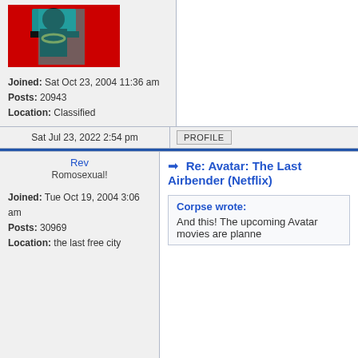[Figure (photo): User avatar image - comic book style figure on red background with teal elements]
Joined: Sat Oct 23, 2004 11:36 am
Posts: 20943
Location: Classified
Sat Jul 23, 2022 2:54 pm
PROFILE
Rev
Romosexual!
Joined: Tue Oct 19, 2004 3:06 am
Posts: 30969
Location: the last free city
Re: Avatar: The Last Airbender (Netflix)
Corpse wrote:
And this! The upcoming Avatar movies are planne